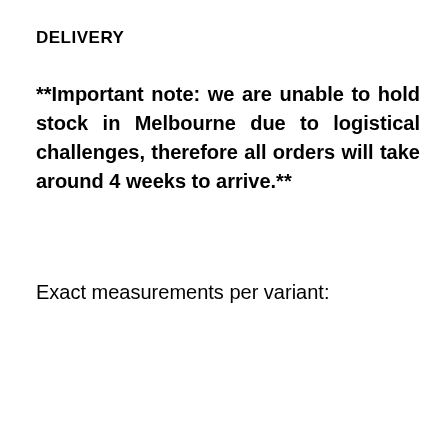DELIVERY
**Important note: we are unable to hold stock in Melbourne due to logistical challenges, therefore all orders will take around 4 weeks to arrive.**
Exact measurements per variant: